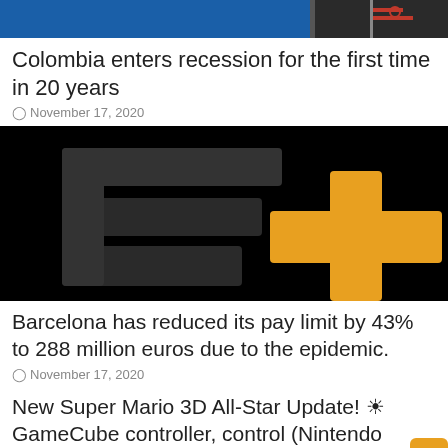[Figure (photo): Top banner image showing a dark blue/red background, partially cropped]
Colombia enters recession for the first time in 20 years
⊙ November 17, 2020
[Figure (logo): ESPN+ logo on black background with dark grey stylized 'E' letters and orange/gold plus sign]
Barcelona has reduced its pay limit by 43% to 288 million euros due to the epidemic.
⊙ November 17, 2020
New Super Mario 3D All-Star Update! ☀ GameCube controller, control (Nintendo Switch)-NintenDúo